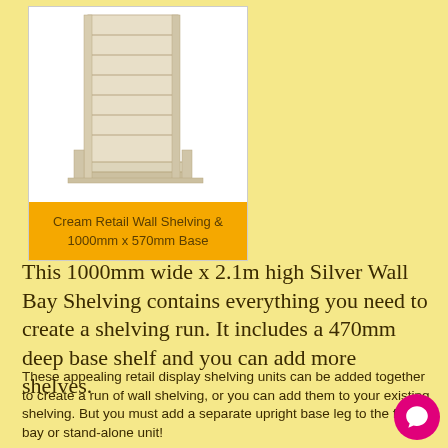[Figure (photo): Cream/beige retail wall shelving unit with a 1000mm x 570mm base, shown as a product photo on white background inside a card.]
Cream Retail Wall Shelving & 1000mm x 570mm Base
This 1000mm wide x 2.1m high Silver Wall Bay Shelving contains everything you need to create a shelving run. It includes a 470mm deep base shelf and you can add more shelves.
These appealing retail display shelving units can be added together to create a run of wall shelving, or you can add them to your existing shelving. But you must add a separate upright base leg to the final bay or stand-alone unit!